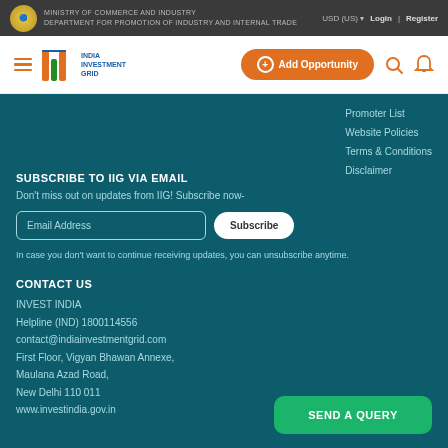Ministry of Commerce and Industry | Department for Promotion of Industry and Internal Trade | USD (US) | Login | Register
[Figure (logo): India Investment Grid (IIG) logo with orange and green bars, navigation bar with hamburger menu, Add Opportunity button, search and bell icons]
Promoter List
Website Policies
Terms & Conditions
Disclaimer
SUBSCRIBE TO IIG VIA EMAIL
Don't miss out on updates from IIG! Subscribe now-
In case you don't want to continue receiving updates, you can unsubscribe anytime.
CONTACT US
INVEST INDIA
Helpline (IND) 1800114556
contact@indiainvestmentgrid.com
First Floor, Vigyan Bhawan Annexe,
Maulana Azad Road,
New Delhi 110 011
www.investindia.gov.in